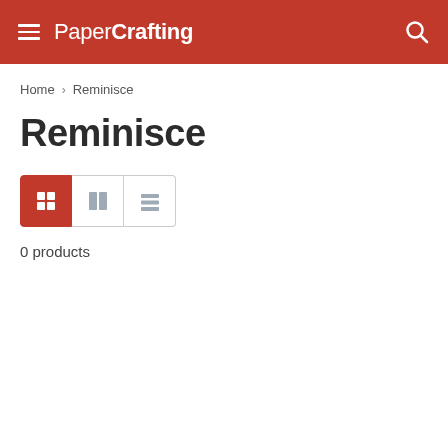PaperCrafting
Home > Reminisce
Reminisce
[Figure (screenshot): View toggle buttons: grid (active, red), two-column, and list view icons]
0 products